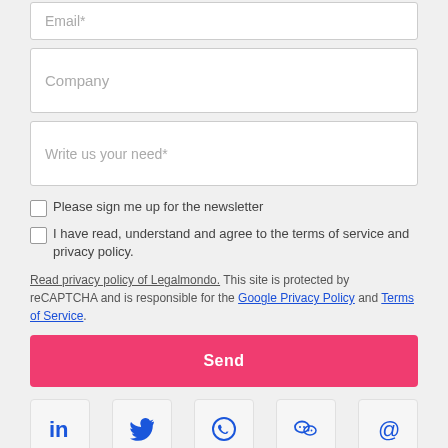Email*
Company
Write us your need*
Please sign me up for the newsletter
I have read, understand and agree to the terms of service and privacy policy.
Read privacy policy of Legalmondo. This site is protected by reCAPTCHA and is responsible for the Google Privacy Policy and Terms of Service.
Send
[Figure (other): Social media icons row: LinkedIn, Twitter, WhatsApp, WeChat, Email]